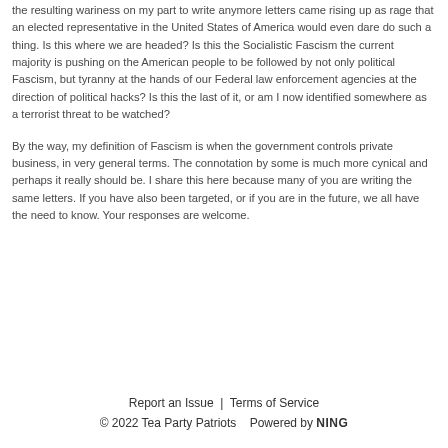the resulting wariness on my part to write anymore letters came rising up as rage that an elected representative in the United States of America would even dare do such a thing. Is this where we are headed? Is this the Socialistic Fascism the current majority is pushing on the American people to be followed by not only political Fascism, but tyranny at the hands of our Federal law enforcement agencies at the direction of political hacks? Is this the last of it, or am I now identified somewhere as a terrorist threat to be watched?
By the way, my definition of Fascism is when the government controls private business, in very general terms. The connotation by some is much more cynical and perhaps it really should be. I share this here because many of you are writing the same letters. If you have also been targeted, or if you are in the future, we all have the need to know. Your responses are welcome.
Report an Issue  |  Terms of Service
© 2022 Tea Party Patriots   Powered by NING